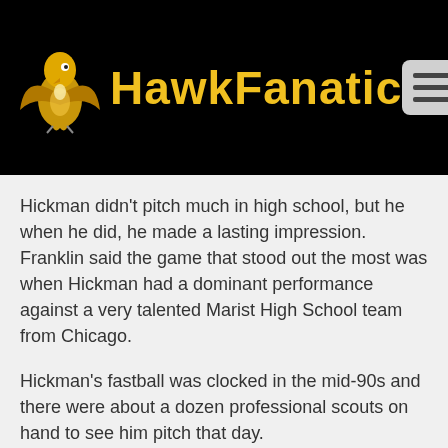HawkFanatic
Hickman didn't pitch much in high school, but he when he did, he made a lasting impression. Franklin said the game that stood out the most was when Hickman had a dominant performance against a very talented Marist High School team from Chicago.
Hickman's fastball was clocked in the mid-90s and there were about a dozen professional scouts on hand to see him pitch that day.
Franklin still remembers what the scouts told him after watching Hickman pitch.
“They said this is one of the best arms that we have seen in